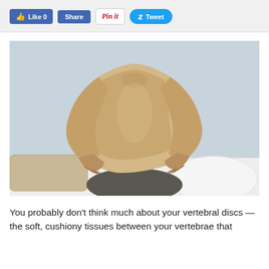[Figure (screenshot): Social media sharing buttons: Like 0 (Facebook), Share (Facebook), Pin it (Pinterest), Tweet (Twitter)]
[Figure (photo): Person sitting on a bed holding their lower back with both hands, suggesting back pain. They are wearing a beige t-shirt. White pillows and tan pillows are visible around them.]
You probably don't think much about your vertebral discs — the soft, cushiony tissues between your vertebrae that